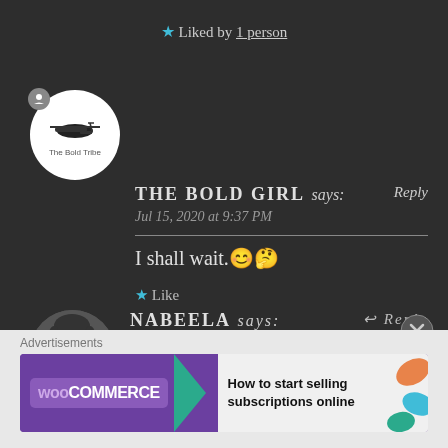★ Liked by 1 person
THE BOLD GIRL says: Reply
Jul 15, 2020 at 9:37 PM
I shall wait.😊🤔
★ Like
NABEELA says: ↩ Reply
Jul 23, 2020 at 3:15 AM
Advertisements
WooCommerce – How to start selling subscriptions online